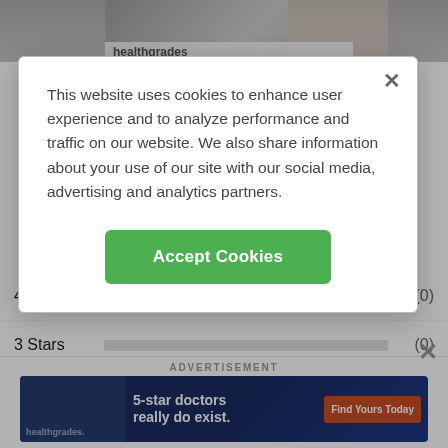[Figure (screenshot): Top portion of Healthgrades website showing a photo of a medical professional with a stethoscope and a partial Healthgrades logo bar]
[Figure (screenshot): Cookie consent modal dialog with close X button, descriptive text about cookie usage, and a green Accept Cookies button]
This website uses cookies to enhance user experience and to analyze performance and traffic on our website. We also share information about your use of our site with our social media, advertising and analytics partners.
4 Stars (0)
3 Stars (0)
2 Stars (0)
1 Star (1)
ADVERTISEMENT
[Figure (screenshot): Healthgrades advertisement banner: '5-star doctors really do exist.' with Find Yours Today button]